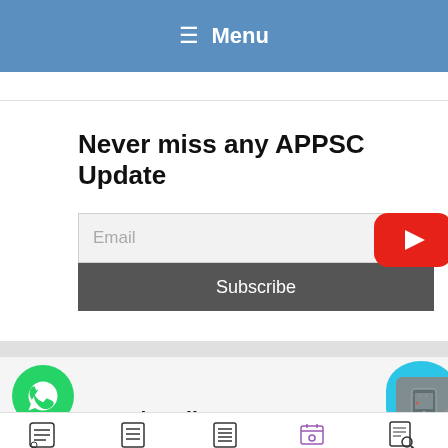≡ Menu
Never miss any APPSC Update
Email
Subscribe
[Figure (screenshot): YouTube button (red rounded rectangle with white play triangle)]
[Figure (screenshot): WhatsApp icon (green circle with phone handset), chat bubble icon top right, partially visible text 'roup | Prelims 2022']
roup | Prelims 2022
Tests
Prelims
Mains
Login
DMPQ